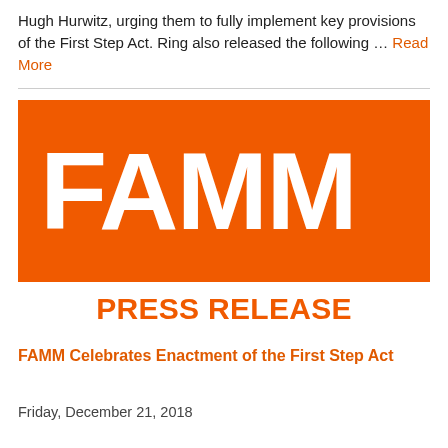Hugh Hurwitz, urging them to fully implement key provisions of the First Step Act. Ring also released the following … Read More
[Figure (logo): FAMM Press Release logo — orange background rectangle with large white bold text 'FAMM', below it white background with orange bold text 'PRESS RELEASE']
FAMM Celebrates Enactment of the First Step Act
Friday, December 21, 2018